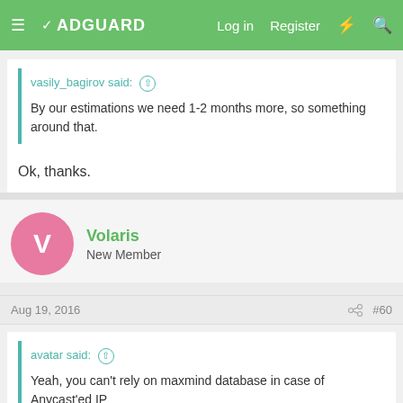ADGUARD — Log in  Register
vasily_bagirov said: ↑
By our estimations we need 1-2 months more, so something around that.
Ok, thanks.
Volaris
New Member
Aug 19, 2016  #60
avatar said: ↑
Yeah, you can't rely on maxmind database in case of Anycast'ed IP